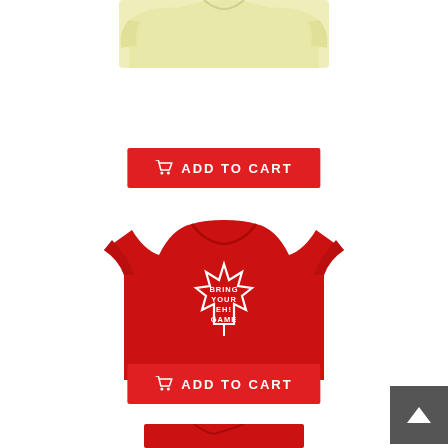[Figure (photo): Partial view of a light yellow-green t-shirt, cropped at top of page]
[Figure (other): Red 'ADD TO CART' button with cart icon]
[Figure (photo): Red t-shirt with a white maple leaf outline graphic that reads 'BRING YOUR EH! GAME' in the center]
[Figure (other): Red 'ADD TO CART' button with cart icon]
[Figure (photo): Partial view of a red t-shirt at the bottom of the page, cropped]
[Figure (other): Gray scroll-to-top button with white upward-pointing arrow, positioned at bottom right]